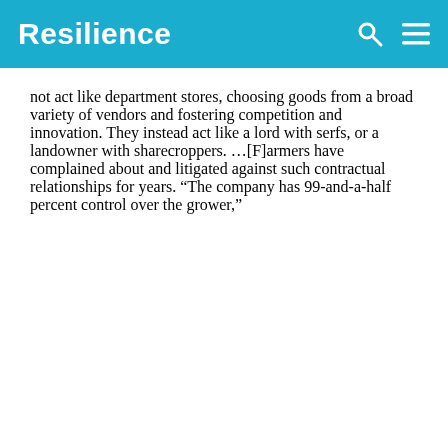Resilience
not act like department stores, choosing goods from a broad variety of vendors and fostering competition and innovation. They instead act like a lord with serfs, or a landowner with sharecroppers. …[F]armers have complained about and litigated against such contractual relationships for years. “The company has 99-and-a-half percent control over the grower,”